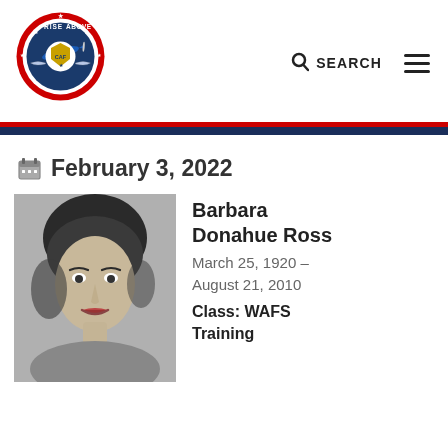[Figure (logo): Rise Above Triumph Over Adversity CAF circular logo with airplane and wings emblem]
SEARCH ☰
February 3, 2022
[Figure (photo): Black and white portrait photo of Barbara Donahue Ross]
Barbara Donahue Ross
March 25, 1920 – August 21, 2010
Class: WAFS
Training